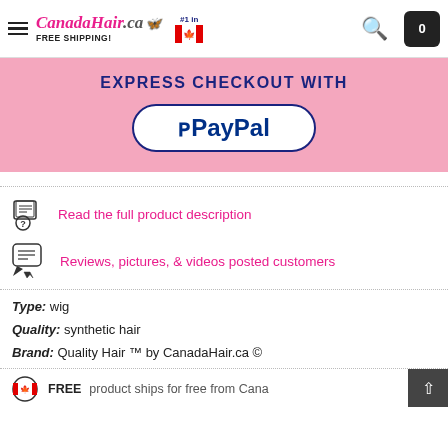CanadaHair.ca FREE SHIPPING! #1 in Canada
[Figure (screenshot): EXPRESS CHECKOUT WITH PayPal button on pink background]
Read the full product description
Reviews, pictures, & videos posted customers
Type: wig
Quality: synthetic hair
Brand: Quality Hair ™ by CanadaHair.ca ©
FREE  product ships for free from Cana